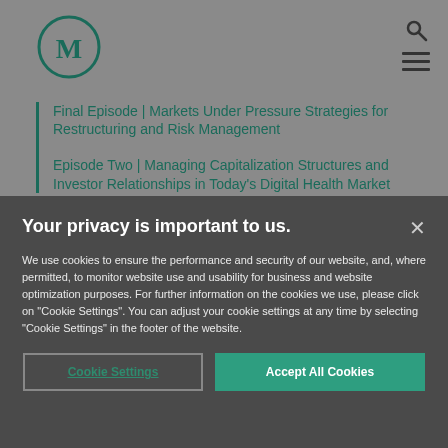[Figure (logo): M logo in a green circle outline]
Final Episode | Markets Under Pressure Strategies for Restructuring and Risk Management
Episode Two | Managing Capitalization Structures and Investor Relationships in Today's Digital Health Market
Your privacy is important to us.
We use cookies to ensure the performance and security of our website, and, where permitted, to monitor website use and usability for business and website optimization purposes. For further information on the cookies we use, please click on "Cookie Settings". You can adjust your cookie settings at any time by selecting "Cookie Settings" in the footer of the website.
Cookie Settings
Accept All Cookies